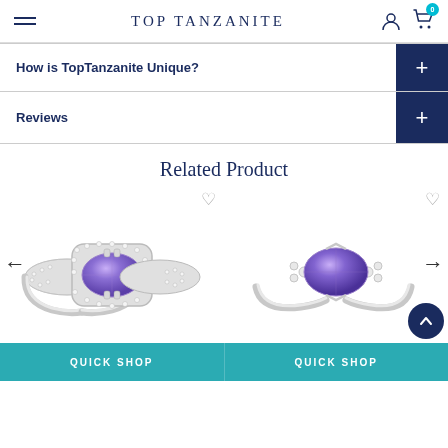TOP TANZANITE
How is TopTanzanite Unique?
Reviews
Related Product
[Figure (photo): Tanzanite ring with diamond halo band, oval blue-purple gemstone center, white gold setting]
[Figure (photo): Tanzanite ring with diamond accents on split shank, oval blue-purple gemstone, white gold setting]
QUICK SHOP
QUICK SHOP